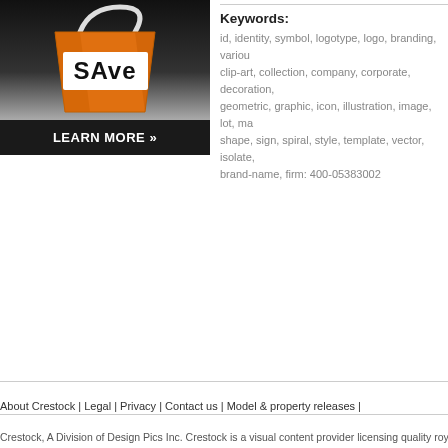[Figure (illustration): Advertisement banner showing an orange shopping bag with 'SAVE' text and a 'LEARN MORE »' button on dark background]
Keywords:
id, identity, symbol, logotype, logo, branding, various, clip-art, collection, company, corporate, decoration, geometric, graphic, icon, illustration, image, lot, ma..., shape, sign, spiral, style, template, vector, isolate, ..., brand-name, firm: 400-05383002
About Crestock | Legal | Privacy | Contact us | Model & property releases |
Crestock, A Division of Design Pics Inc. Crestock is a visual content provider licensing quality royalty-...